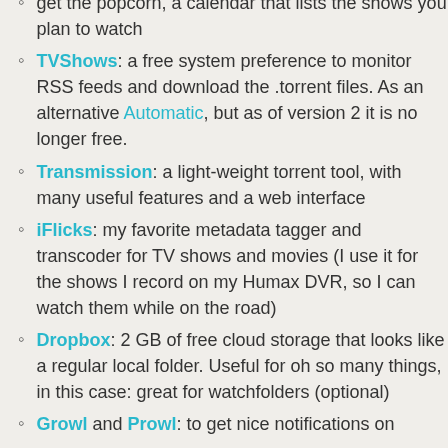get the popcorn, a calendar that lists the shows you plan to watch
TVShows: a free system preference to monitor RSS feeds and download the .torrent files. As an alternative Automatic, but as of version 2 it is no longer free.
Transmission: a light-weight torrent tool, with many useful features and a web interface
iFlicks: my favorite metadata tagger and transcoder for TV shows and movies (I use it for the shows I record on my Humax DVR, so I can watch them while on the road)
Dropbox: 2 GB of free cloud storage that looks like a regular local folder. Useful for oh so many things, in this case: great for watchfolders (optional)
Growl and Prowl: to get nice notifications on